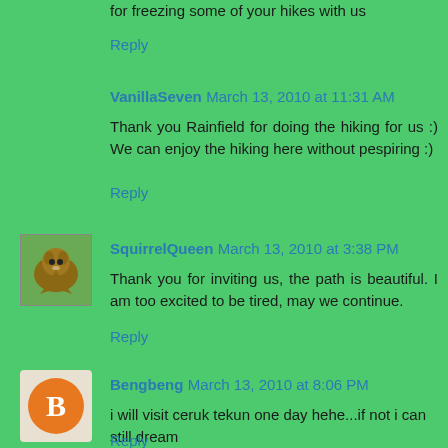for freezing some of your hikes with us
Reply
VanillaSeven March 13, 2010 at 11:31 AM
Thank you Rainfield for doing the hiking for us :) We can enjoy the hiking here without pespiring :)
Reply
[Figure (photo): Avatar thumbnail of SquirrelQueen showing a squirrel]
SquirrelQueen March 13, 2010 at 3:38 PM
Thank you for inviting us, the path is beautiful. I am too excited to be tired, may we continue.
Reply
[Figure (logo): Blogger avatar icon for Bengbeng, orange circle with B]
Bengbeng March 13, 2010 at 8:06 PM
i will visit ceruk tekun one day hehe...if not i can still dream
Reply